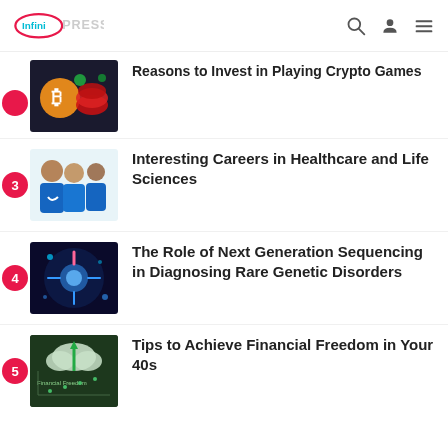Infini Press
Reasons to Invest in Playing Crypto Games
3 Interesting Careers in Healthcare and Life Sciences
4 The Role of Next Generation Sequencing in Diagnosing Rare Genetic Disorders
5 Tips to Achieve Financial Freedom in Your 40s